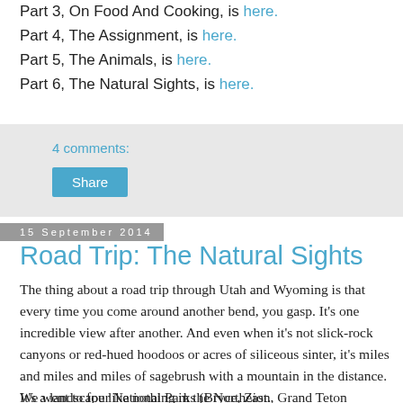Part 3, On Food And Cooking, is here.
Part 4, The Assignment, is here.
Part 5, The Animals, is here.
Part 6, The Natural Sights, is here.
4 comments:
Share
15 September 2014
Road Trip: The Natural Sights
The thing about a road trip through Utah and Wyoming is that every time you come around another bend, you gasp. It's one incredible view after another. And even when it's not slick-rock canyons or red-hued hoodoos or acres of siliceous sinter, it's miles and miles and miles of sagebrush with a mountain in the distance. It's a landscape like nothing in the Northeast.
We went to four National Parks (Bryce, Zion, Grand Teton